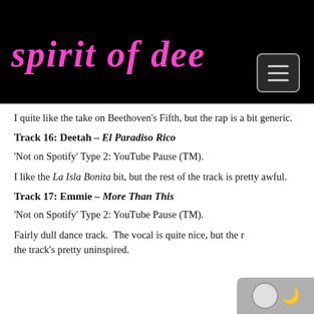spirit of dee
I quite like the take on Beethoven’s Fifth, but the rap is a bit generic.
Track 16: Deetah – El Paradiso Rico
‘Not on Spotify’ Type 2: YouTube Pause (TM).
I like the La Isla Bonita bit, but the rest of the track is pretty awful.
Track 17: Emmie – More Than This
‘Not on Spotify’ Type 2: YouTube Pause (TM).
Fairly dull dance track.  The vocal is quite nice, but the rest... the track’s pretty uninspired.